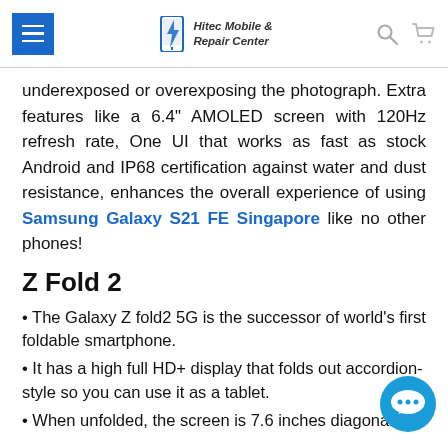Hitec Mobile & Repair Center
underexposed or overexposing the photograph. Extra features like a 6.4" AMOLED screen with 120Hz refresh rate, One UI that works as fast as stock Android and IP68 certification against water and dust resistance, enhances the overall experience of using Samsung Galaxy S21 FE Singapore like no other phones!
Z Fold 2
• The Galaxy Z fold2 5G is the successor of world's first foldable smartphone.
• It has a high full HD+ display that folds out accordion-style so you can use it as a tablet.
• When unfolded, the screen is 7.6 inches diagonally,